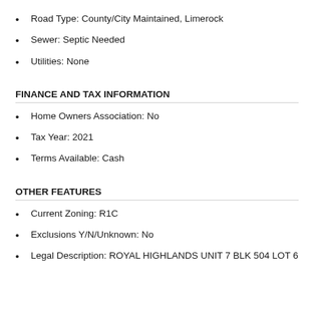Road Type: County/City Maintained, Limerock
Sewer: Septic Needed
Utilities: None
FINANCE AND TAX INFORMATION
Home Owners Association: No
Tax Year: 2021
Terms Available: Cash
OTHER FEATURES
Current Zoning: R1C
Exclusions Y/N/Unknown: No
Legal Description: ROYAL HIGHLANDS UNIT 7 BLK 504 LOT 6